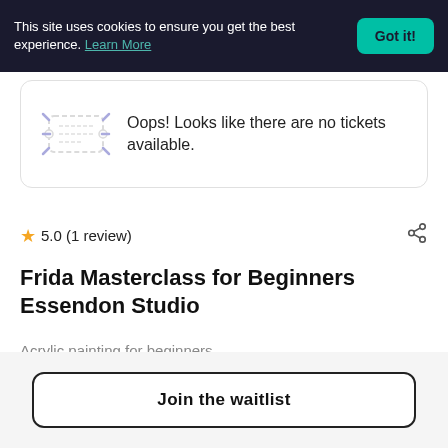This site uses cookies to ensure you get the best experience. Learn More
Oops! Looks like there are no tickets available.
★ 5.0 (1 review)
Frida Masterclass for Beginners Essendon Studio
Acrylic painting for beginners
by Paint With Me Melbourne
Join the waitlist